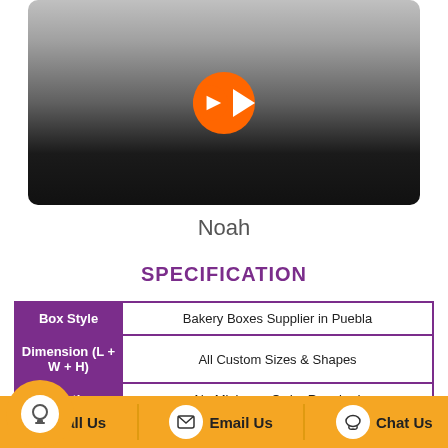[Figure (photo): Video thumbnail of a man wearing a black shirt with a YouTube-style orange play button overlay]
Noah
SPECIFICATION
| Label | Value |
| --- | --- |
| Box Style | Bakery Boxes Supplier in Puebla |
| Dimension (L + W + H) | All Custom Sizes & Shapes |
| Quantities | No Minimum Order Required |
| Paper Stock | 10pt to 28pt (60lb to 400lb) Eco-Friendly Kraft, E-flute Corrugated, Bux Board, Cardstock |
Call Us  Email Us  Chat Us